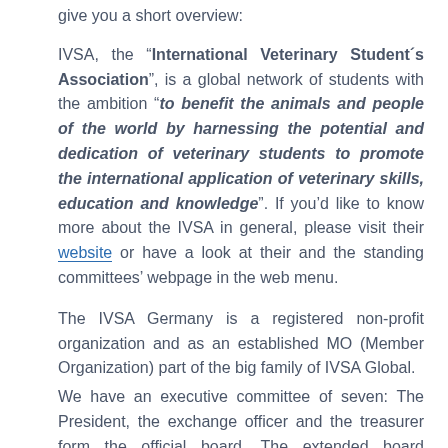give you a short overview:
IVSA, the "International Veterinary Student's Association", is a global network of students with the ambition "to benefit the animals and people of the world by harnessing the potential and dedication of veterinary students to promote the international application of veterinary skills, education and knowledge". If you'd like to know more about the IVSA in general, please visit their website or have a look at their and the standing committees' webpage in the web menu.
The IVSA Germany is a registered non-profit organization and as an established MO (Member Organization) part of the big family of IVSA Global.
We have an executive committee of seven: The President, the exchange officer and the treasurer form the official board. The extended board consists of the vice president, the chapter coordinator, our public relations officer and the communication officer. All of them are supported